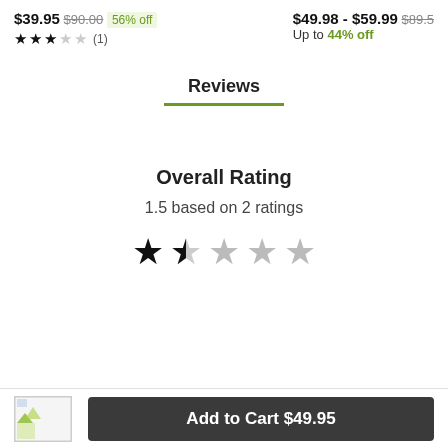$39.95 $90.00 56% off ★★★☆☆ (1)
$49.98 - $59.99 $89.5 Up to 44% off
Reviews
Overall Rating
1.5 based on 2 ratings
[Figure (other): Product thumbnail image placeholder]
Add to Cart $49.95